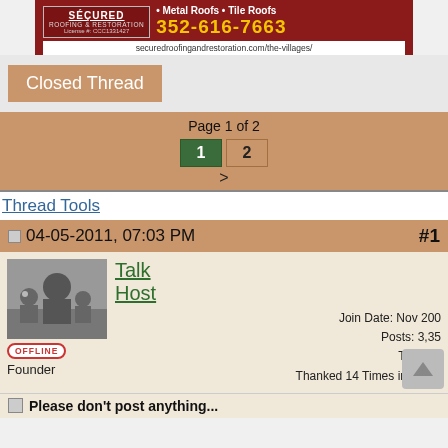[Figure (other): Advertisement banner for Secured Roofing & Restoration. Text: Metal Roofs • Tile Roofs, License #: CCC1331427, 352-616-7663, securedroofingandrestoration.com/the-villages/]
Closed Thread
Page 1 of 2
1  2  >
Thread Tools
04-05-2011, 07:03 PM  #1
Talk Host
Join Date: Nov 200
Posts: 3,35
Thanks:
Thanked 14 Times in 5 Pos
[Figure (photo): Black and white photo of a person sitting with children on a couch]
OFFLINE
Founder
Please don't post anything...